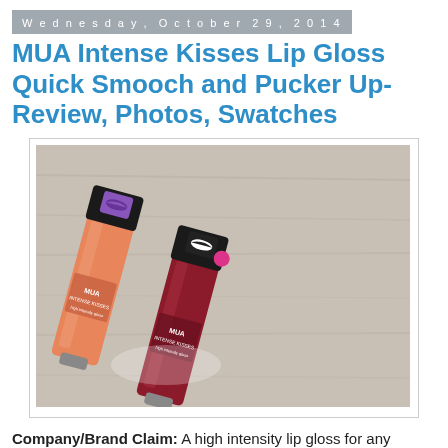Wednesday, October 29, 2014
MUA Intense Kisses Lip Gloss Quick Smooch and Pucker Up-Review, Photos, Swatches
[Figure (photo): Two MUA Intense Kisses high intensity lip gloss tubes on a wooden surface. One is an orange/coral shade and one is a red/deep shade. Both have black caps with lip print designs and MUA branding.]
Company/Brand Claim: A high intensity lip gloss for any occasion.